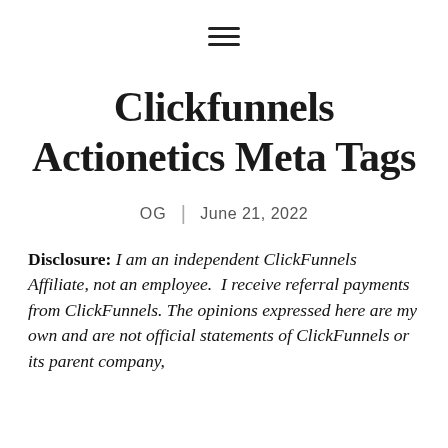≡
Clickfunnels Actionetics Meta Tags
OG | June 21, 2022
Disclosure: I am an independent ClickFunnels Affiliate, not an employee.  I receive referral payments from ClickFunnels. The opinions expressed here are my own and are not official statements of ClickFunnels or its parent company,